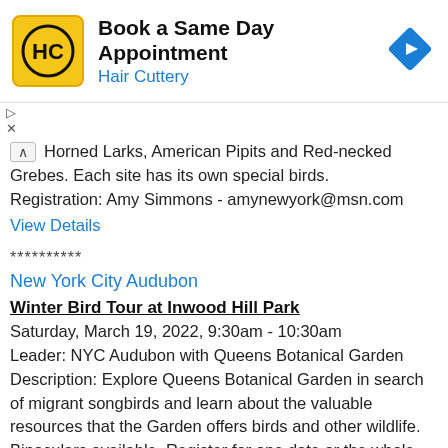[Figure (infographic): Hair Cuttery advertisement banner with HC logo (yellow background, black HC letters in circle), title 'Book a Same Day Appointment', subtitle 'Hair Cuttery' in blue, and a blue diamond navigation icon on the right.]
Horned Larks, American Pipits and Red-necked Grebes. Each site has its own special birds. Registration: Amy Simmons - amynewyork@msn.com
View Details
**********
New York City Audubon
Winter Bird Tour at Inwood Hill Park
Saturday, March 19, 2022, 9:30am - 10:30am
Leader: NYC Audubon with Queens Botanical Garden
Description: Explore Queens Botanical Garden in search of migrant songbirds and learn about the valuable resources that the Garden offers birds and other wildlife. Binoculars available. Register for one date or the whole series of five